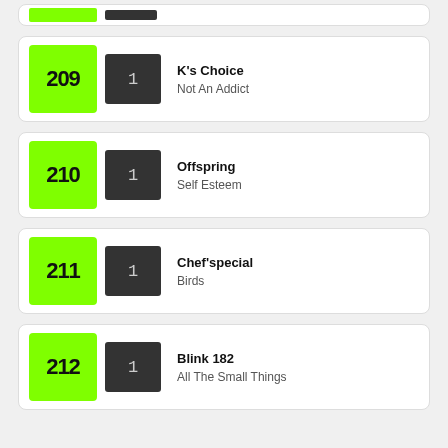209 | 1 | K's Choice | Not An Addict
210 | 1 | Offspring | Self Esteem
211 | 1 | Chef'special | Birds
212 | 1 | Blink 182 | All The Small Things